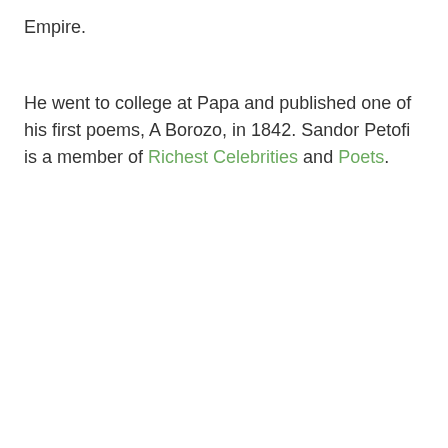Empire.
He went to college at Papa and published one of his first poems, A Borozo, in 1842. Sandor Petofi is a member of Richest Celebrities and Poets.